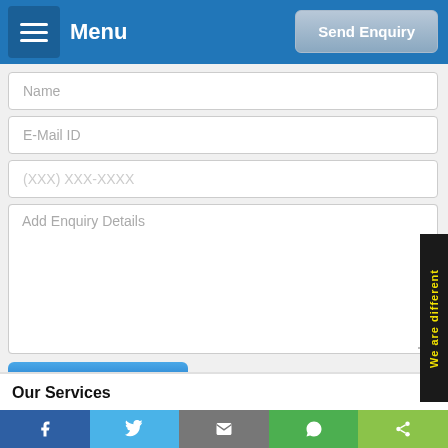Menu | Send Enquiry
Name
E-Mail ID
(XXX) XXX-XXXX
Add Enquiry Details
SEND ENQUIRY
We are different
Our Services
Facebook | Twitter | Email | WhatsApp | Share